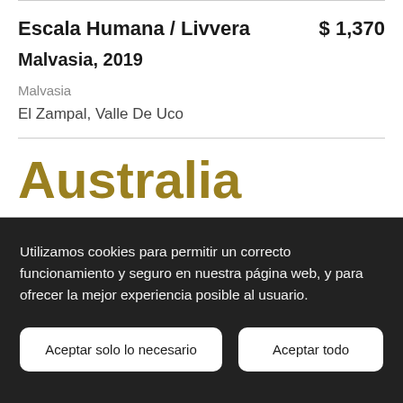Escala Humana / Livvera   $ 1,370
Malvasia, 2019
Malvasia
El Zampal, Valle De Uco
Australia
Utilizamos cookies para permitir un correcto funcionamiento y seguro en nuestra página web, y para ofrecer la mejor experiencia posible al usuario.
Aceptar solo lo necesario
Aceptar todo